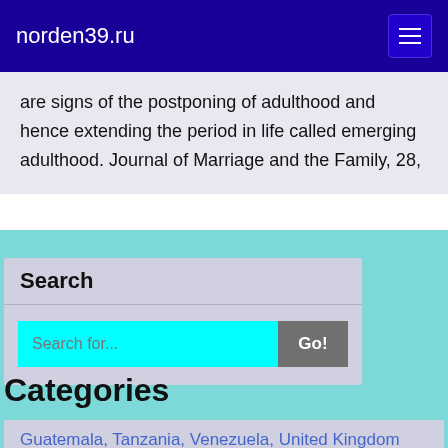norden39.ru
are signs of the postponing of adulthood and hence extending the period in life called emerging adulthood. Journal of Marriage and the Family, 28,
Search
Search for...   Go!
Categories
Guatemala, Tanzania, Venezuela, United Kingdom